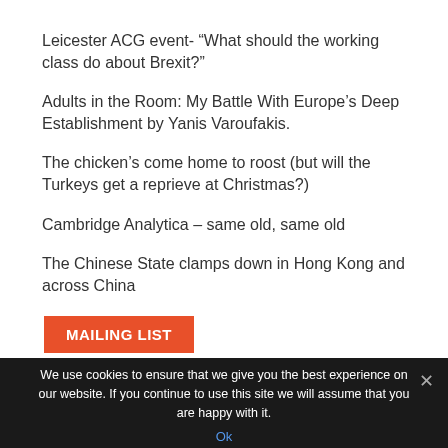Leicester ACG event- “What should the working class do about Brexit?”
Adults in the Room: My Battle With Europe’s Deep Establishment by Yanis Varoufakis.
The chicken’s come home to roost (but will the Turkeys get a reprieve at Christmas?)
Cambridge Analytica – same old, same old
The Chinese State clamps down in Hong Kong and across China
MAILING LIST
We use cookies to ensure that we give you the best experience on our website. If you continue to use this site we will assume that you are happy with it.
Ok